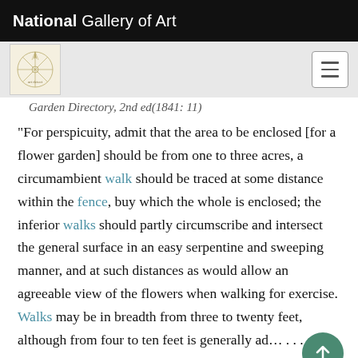National Gallery of Art
Garden Directory, 2nd ed(1841: 11)
“For perspicuity, admit that the area to be enclosed [for a flower garden] should be from one to three acres, a circumambient walk should be traced at some distance within the fence, buy which the whole is enclosed; the inferior walks should partly circumscribe and intersect the general surface in an easy serpentine and sweeping manner, and at such distances as would allow an agreeable view of the flowers when walking for exercise. Walks may be in breadth from three to twenty feet, although from four to ten feet is generally adâ€¦ . . . covered with gravel, and then firmly rolled withâ€¦ heavy rollerâ€¦”